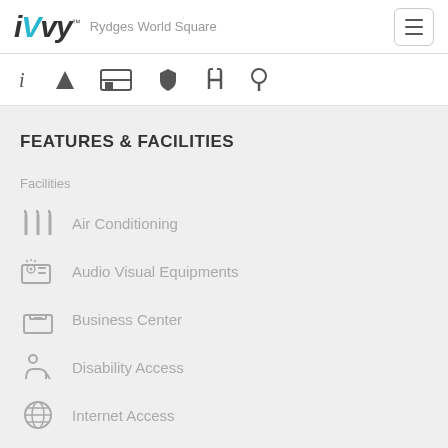iVvy™ — Rydges World Square
FEATURES & FACILITIES
Facilities
Air Conditioning
Audio Visual Equipments
Business Center
Disability Access
Internet Access